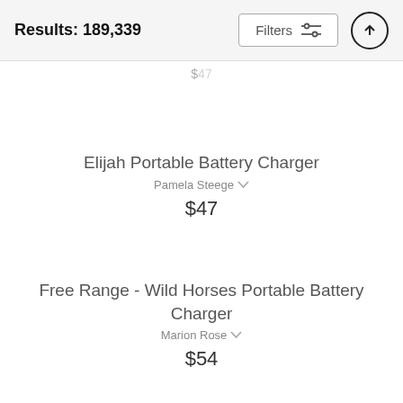Results: 189,339
$47
Elijah Portable Battery Charger
Pamela Steege
$47
Free Range - Wild Horses Portable Battery Charger
Marion Rose
$54